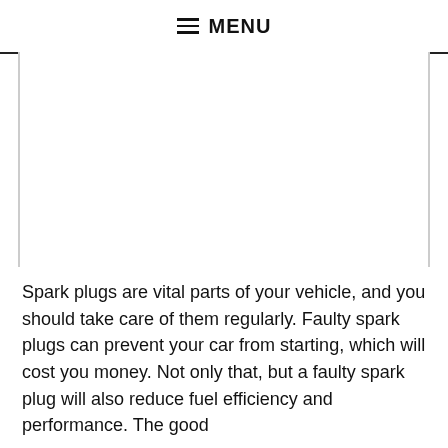MENU
[Figure (other): Large image placeholder area (white/blank)]
Spark plugs are vital parts of your vehicle, and you should take care of them regularly. Faulty spark plugs can prevent your car from starting, which will cost you money. Not only that, but a faulty spark plug will also reduce fuel efficiency and performance. The good